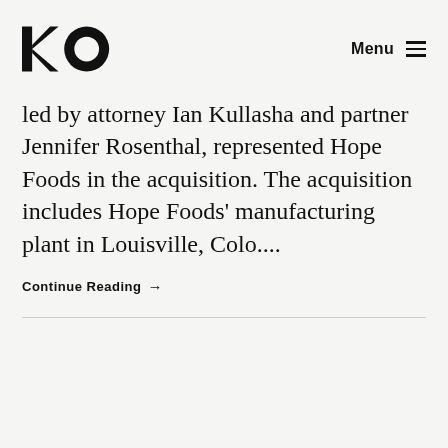KO | Menu
led by attorney Ian Kullasha and partner Jennifer Rosenthal, represented Hope Foods in the acquisition. The acquisition includes Hope Foods’ manufacturing plant in Louisville, Colo....
Continue Reading →